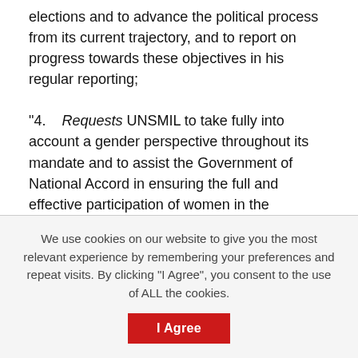elections and to advance the political process from its current trajectory, and to report on progress towards these objectives in his regular reporting;
"4.  Requests UNSMIL to take fully into account a gender perspective throughout its mandate and to assist the Government of National Accord in ensuring the full and effective participation of women in the democratic transition, reconciliation efforts, the security sector and in national institutions, as well as the protection of women and girls from sexual and gender-based violence, in line with resolution 1325 (2000);
We use cookies on our website to give you the most relevant experience by remembering your preferences and repeat visits. By clicking "I Agree", you consent to the use of ALL the cookies.